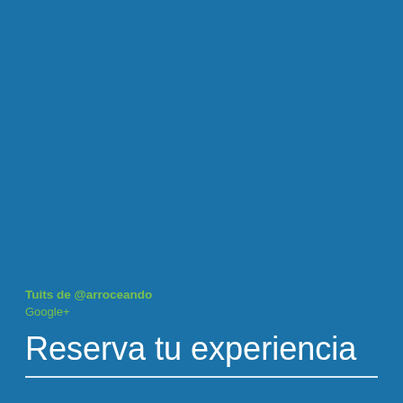Tuits de @arroceando
Google+
Reserva tu experiencia